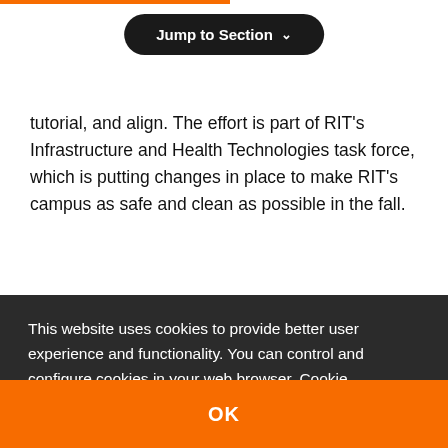Jump to Section ▾
tutorial, and align. The effort is part of RIT's Infrastructure and Health Technologies task force, which is putting changes in place to make RIT's campus as safe and clean as possible in the fall.
More News on Critical Thinking 🗔
This website uses cookies to provide better user experience and functionality. You can control and configure cookies in your web browser. Cookie Statement | How to Disable Cookies
OK